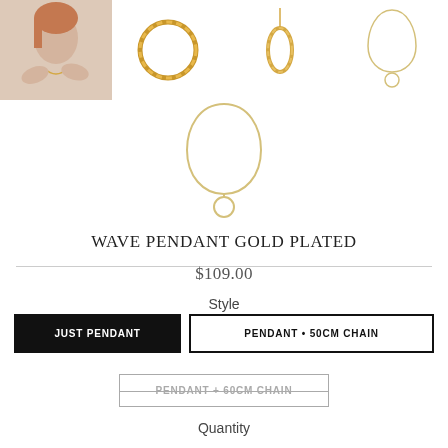[Figure (photo): E-commerce product page for Wave Pendant Gold Plated. Top gallery row shows: model photo wearing gold necklace, circular chain bracelet, oval pendant, teardrop pendant. Main large image shows a teardrop/circle pendant necklace. Below: product title, price, style selector buttons, quantity label.]
WAVE PENDANT GOLD PLATED
$109.00
Style
JUST PENDANT
PENDANT • 50CM CHAIN
PENDANT + 60CM CHAIN
Quantity